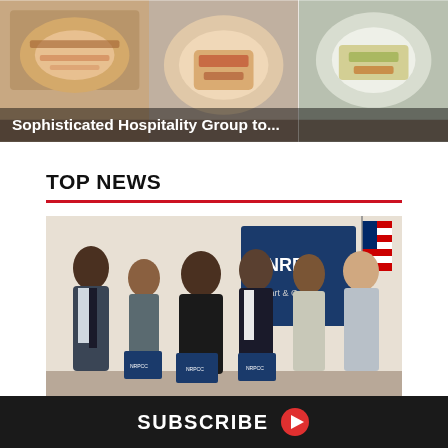[Figure (photo): Strip of three food photos showing plated dishes, with dark overlay text at bottom reading 'Sophisticated Hospitality Group to...']
Sophisticated Hospitality Group to...
TOP NEWS
[Figure (photo): Group photo of six people standing together holding blue folders/awards in a room with an NRPCC banner and an American flag in the background]
SUBSCRIBE